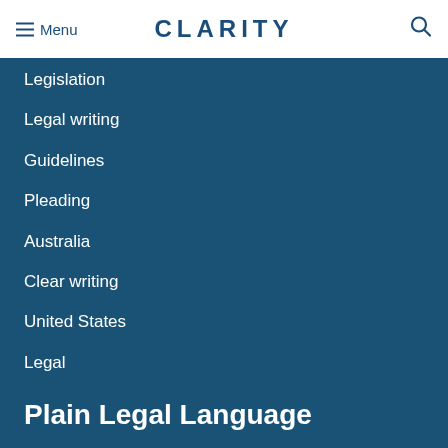Menu  CLARITY
Legislation
Legal writing
Guidelines
Pleading
Australia
Clear writing
United States
Legal
Plain Legal Language